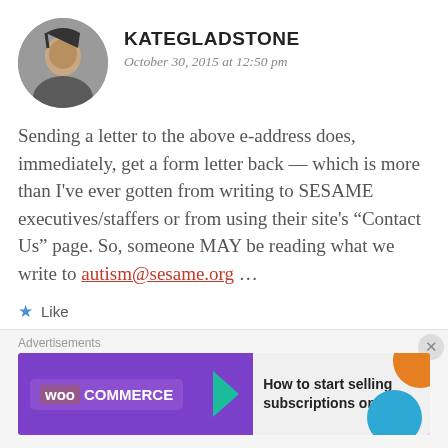KATEGLADSTONE
October 30, 2015 at 12:50 pm
Sending a letter to the above e-address does, immediately, get a form letter back — which is more than I've ever gotten from writing to SESAME executives/staffers or from using their site's “Contact Us” page. So, someone MAY be reading what we write to autism@sesame.org …
Like
Advertisements
[Figure (screenshot): WooCommerce advertisement banner with text 'How to start selling subscriptions online']